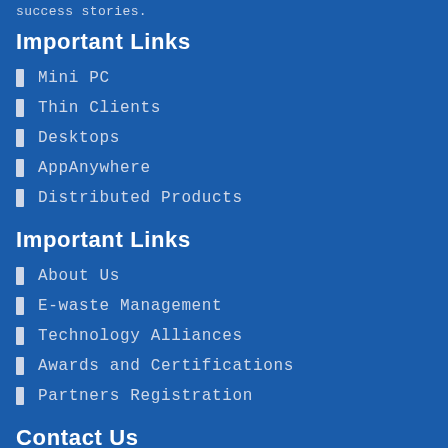success stories.
Important Links
Mini PC
Thin Clients
Desktops
AppAnywhere
Distributed Products
Important Links
About Us
E-waste Management
Technology Alliances
Awards and Certifications
Partners Registration
Contact Us